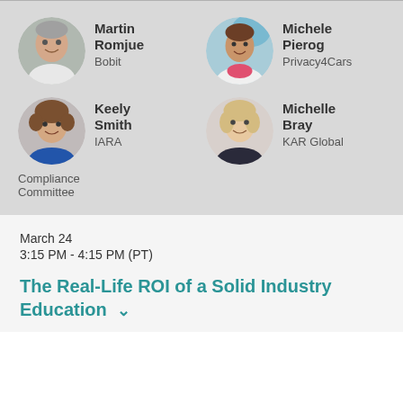[Figure (photo): Headshot of Martin Romjue]
Martin Romjue
Bobit
[Figure (photo): Headshot of Michele Pierog]
Michele Pierog
Privacy4Cars
[Figure (photo): Headshot of Keely Smith]
Keely Smith
IARA
Compliance Committee
[Figure (photo): Headshot of Michelle Bray]
Michelle Bray
KAR Global
March 24
3:15 PM - 4:15 PM (PT)
The Real-Life ROI of a Solid Industry Education